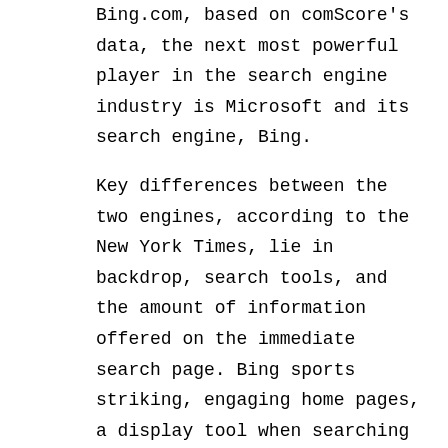Bing.com, based on comScore's data, the next most powerful player in the search engine industry is Microsoft and its search engine, Bing. Key differences between the two engines, according to the New York Times, lie in backdrop, search tools, and the amount of information offered on the immediate search page. Bing sports striking, engaging home pages, a display tool when searching for airline flights, aggregate restaurant rating badges, and more. One popular feature is its "linkfromdomain:" search term. This term allows users to see the most frequently used outgoing link from a given site. This can provide easy access to research pages or recommended sites from a trusted source.